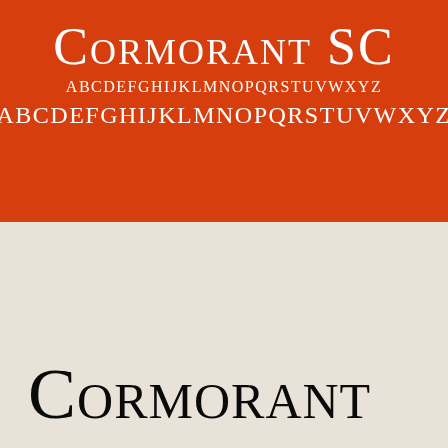Cormorant SC
ABCDEFGHIJKLMNOPQRSTUVWXYZ
ABCDEFGHIJKLMNOPQRSTUVWXYZ
Cormorant